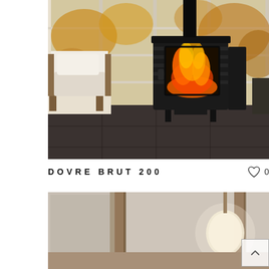[Figure (photo): A modern black cast iron wood-burning stove (Dovre Brut 200) with visible flames through a glass door, placed on a dark tile floor next to a light armchair, in front of large windows with autumn trees visible outside.]
Dovre Brut 200
[Figure (photo): A softly lit interior room with warm beige walls, vertical wooden posts/beams, and a glowing lamp shade on the right side. The scene is calm and minimal.]